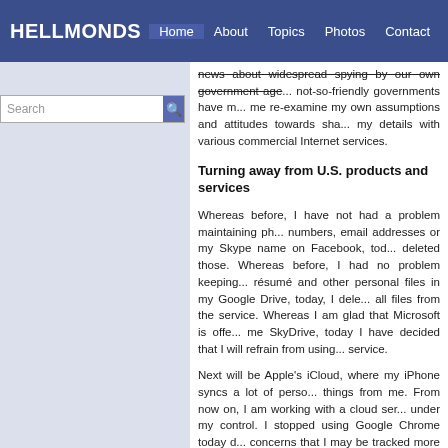HELLMONDS | Home | About | Topics | Photos | Contact
news about widespread spying by our own government age... not-so-friendly governments have m... me re-examine my own assumptions and attitudes towards sha... my details with various commercial Internet services.
Turning away from U.S. products and services
Whereas before, I have not had a problem maintaining ph... numbers, email addresses or my Skype name on Facebook, tod... deleted those. Whereas before, I had no problem keeping... résumé and other personal files in my Google Drive, today, I dele... all files from the service. Whereas I am glad that Microsoft is offe... me SkyDrive, today I have decided that I will refrain from using... service.
Next will be Apple's iCloud, where my iPhone syncs a lot of perso... things from me. From now on, I am working with a cloud ser... under my control. I stopped using Google Chrome today d... concerns that I may be tracked more than I would like to be,... switched back to Mozilla's Firefox browser, which is giving me m... control over my privacy settings. As of this week, I am no lor... using Microsoft Outlook and have changed to Mozilla's Thund...